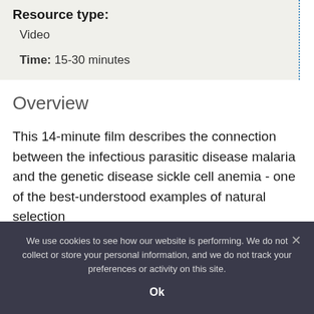Resource type:
Video
Time: 15-30 minutes
Overview
This 14-minute film describes the connection between the infectious parasitic disease malaria and the genetic disease sickle cell anemia - one of the best-understood examples of natural selection
We use cookies to see how our website is performing. We do not collect or store your personal information, and we do not track your preferences or activity on this site.
Ok